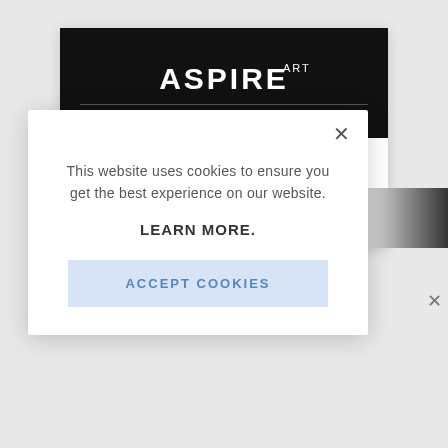[Figure (screenshot): Aspire Art website header with black background and white logo text reading ASPIRE ART with a horizontal grey line below]
This website uses cookies to ensure you get the best experience on our website.
LEARN MORE.
ACCEPT COOKIES